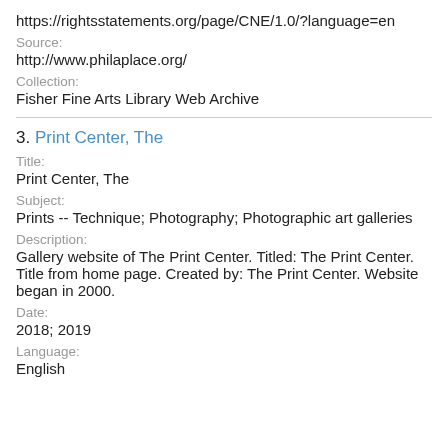https://rightsstatements.org/page/CNE/1.0/?language=en
Source:
http://www.philaplace.org/
Collection:
Fisher Fine Arts Library Web Archive
3. Print Center, The
Title:
Print Center, The
Subject:
Prints -- Technique; Photography; Photographic art galleries
Description:
Gallery website of The Print Center. Titled: The Print Center. Title from home page. Created by: The Print Center. Website began in 2000.
Date:
2018; 2019
Language:
English